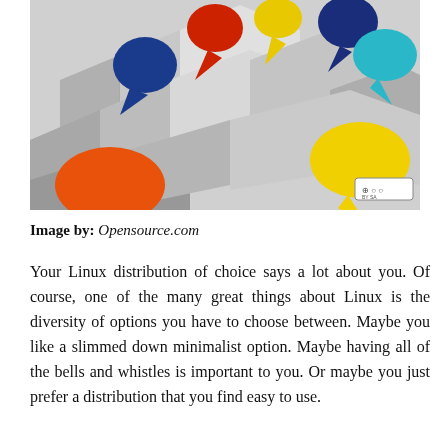[Figure (illustration): Colorful speech bubbles (orange, dark blue, red, yellow, cyan, dark blue, teal, yellow) floating above a background of abstract grey 3D rectangular blocks. A Creative Commons BY-SA license badge appears in the lower right corner.]
Image by: Opensource.com
Your Linux distribution of choice says a lot about you. Of course, one of the many great things about Linux is the diversity of options you have to choose between. Maybe you like a slimmed down minimalist option. Maybe having all of the bells and whistles is important to you. Or maybe you just prefer a distribution that you find easy to use.